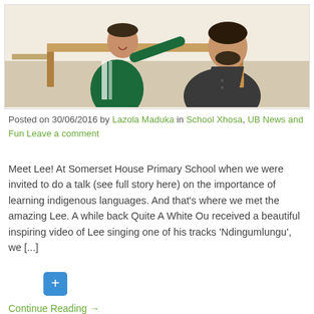[Figure (photo): Two people in a room — a young child in a green and white tracksuit jacket reaching up toward an adult man with dark hair and beard wearing a plaid shirt and dark jacket, appearing to be in a school setting with wooden furniture in the background.]
Posted on 30/06/2016 by Lazola Maduka in School Xhosa, UB News and Fun Leave a comment
Meet Lee! At Somerset House Primary School when we were invited to do a talk (see full story here) on the importance of learning indigenous languages. And that's where we met the amazing Lee. A while back Quite A White Ou received a beautiful inspiring video of Lee singing one of his tracks 'Ndingumlungu', we [...]
[Figure (other): Blue plus button icon]
Continue Reading →